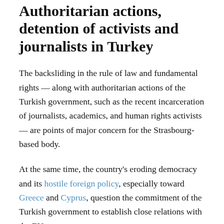Authoritarian actions, detention of activists and journalists in Turkey
The backsliding in the rule of law and fundamental rights — along with authoritarian actions of the Turkish government, such as the recent incarceration of journalists, academics, and human rights activists — are points of major concern for the Strasbourg-based body.
At the same time, the country's eroding democracy and its hostile foreign policy, especially toward Greece and Cyprus, question the commitment of the Turkish government to establish close relations with the EU.